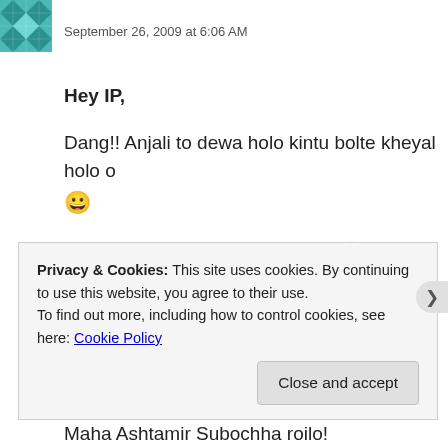[Figure (illustration): Teal/green quilted pattern avatar icon]
September 26, 2009 at 6:06 AM
Hey IP,
Dang!! Anjali to dewa holo kintu bolte kheyal holo o 😀
Chhobi tulte besi byasto chhilm! 😛
Hmm, amra kaal kichhu taratari firechhi, amr panch kharap, tai ektu rest nebo bole. Aj abr je ke sei, 'ca
Maha Ashtamir Subochha roilo!
Privacy & Cookies: This site uses cookies. By continuing to use this website, you agree to their use.
To find out more, including how to control cookies, see here: Cookie Policy